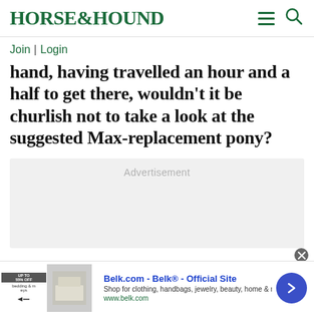HORSE&HOUND
Join | Login
hand, having travelled an hour and a half to get there, wouldn't it be churlish not to take a look at the suggested Max-replacement pony?
[Figure (other): Advertisement placeholder box with grey background]
[Figure (other): Bottom banner advertisement: Belk.com - Belk® - Official Site. Shop for clothing, handbags, jewelry, beauty, home & more! www.belk.com]